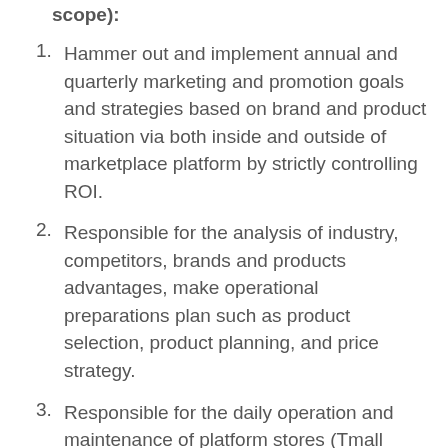scope):
Hammer out and implement annual and quarterly marketing and promotion goals and strategies based on brand and product situation via both inside and outside of marketplace platform by strictly controlling ROI.
Responsible for the analysis of industry, competitors, brands and products advantages, make operational preparations plan such as product selection, product planning, and price strategy.
Responsible for the daily operation and maintenance of platform stores (Tmall International, WeChat Mini Program store), participate in Tmall Global activities, hammer out product